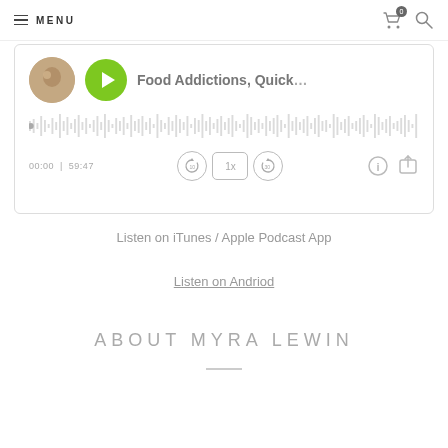≡ MENU | cart(0) | search
[Figure (screenshot): Podcast player card with thumbnail, green play button, episode title 'Food Addictions, Quick...', waveform/progress bar, time display '00:00 | 59:47', playback controls (rewind 10, 1x speed, forward 30), info and share icons]
Listen on iTunes / Apple Podcast App
Listen on Andriod
ABOUT MYRA LEWIN